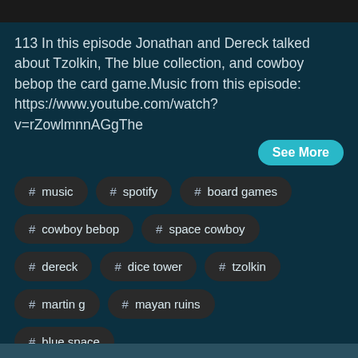113 In this episode Jonathan and Dereck talked about Tzolkin, The blue collection, and cowboy bebop the card game.Music from this episode: https://www.youtube.com/watch?v=rZowlmnnAGgThe
See More
# music
# spotify
# board games
# cowboy bebop
# space cowboy
# dereck
# dice tower
# tzolkin
# martin g
# mayan ruins
# blue space